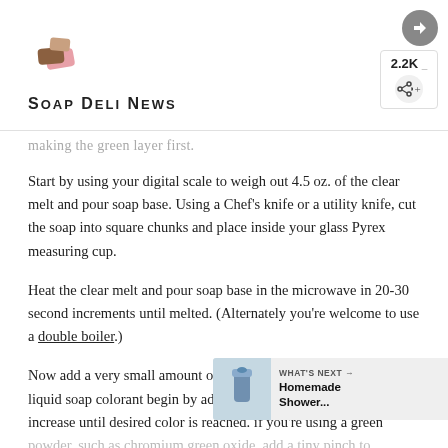Soap Deli News | 2.2K
making the green layer first.
Start by using your digital scale to weigh out 4.5 oz. of the clear melt and pour soap base. Using a Chef's knife or a utility knife, cut the soap into square chunks and place inside your glass Pyrex measuring cup.
Heat the clear melt and pour soap base in the microwave in 20-30 second increments until melted. (Alternately you're welcome to use a double boiler.)
Now add a very small amount of your green colorant. If using a liquid soap colorant begin by adding one drop of color. Stir, then increase until desired color is reached. if you're using a green powder, such as chromium green oxide, add a tiny pinch to ensure the color is fully incorporated. Increase as needed.
[Figure (other): Homemade Shower... promotional widget with bottle image]